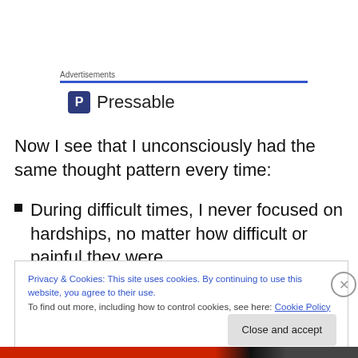Advertisements
[Figure (logo): Pressable logo with blue square P icon and text 'Pressable']
Now I see that I unconsciously had the same thought pattern every time:
During difficult times, I never focused on hardships, no matter how difficult or painful they were.
Privacy & Cookies: This site uses cookies. By continuing to use this website, you agree to their use. To find out more, including how to control cookies, see here: Cookie Policy